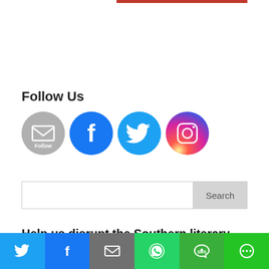[Figure (other): Red horizontal bar at top right]
Follow Us
[Figure (other): Row of social media icons: Email Follow, Facebook, Twitter, Instagram]
[Figure (other): Search bar with Search button]
Help us disrupt the Southern literary landscape.
[Figure (other): Bottom share bar with Twitter, Facebook, Email, WhatsApp, SMS, More buttons]